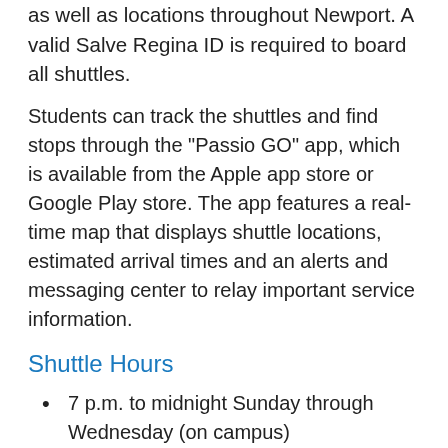as well as locations throughout Newport. A valid Salve Regina ID is required to board all shuttles.
Students can track the shuttles and find stops through the "Passio GO" app, which is available from the Apple app store or Google Play store. The app features a real-time map that displays shuttle locations, estimated arrival times and an alerts and messaging center to relay important service information.
Shuttle Hours
7 p.m. to midnight Sunday through Wednesday (on campus)
8 p.m. to midnight Sunday through Wednesday (off campus)
7 p.m. to 1 a.m. Thursday through Saturday (off campus)